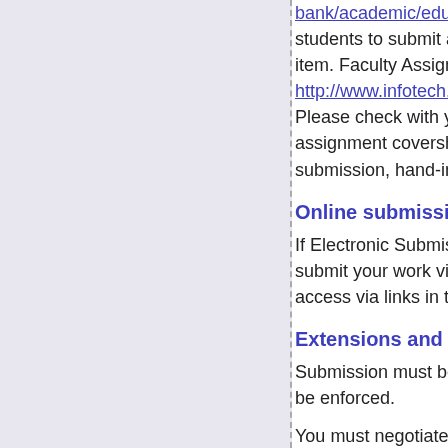bank/academic/educat… students to submit an … item. Faculty Assignme… http://www.infotech.mo… Please check with you… assignment coversheet… submission, hand-in a…
Online submission
If Electronic Submissio… submit your work via th… access via links in the…
Extensions and pena…
Submission must be m… be enforced.
You must negotiate an… leader via the in-semes… http://www.infotech.mo… consideration.html.
Returning assignmen…